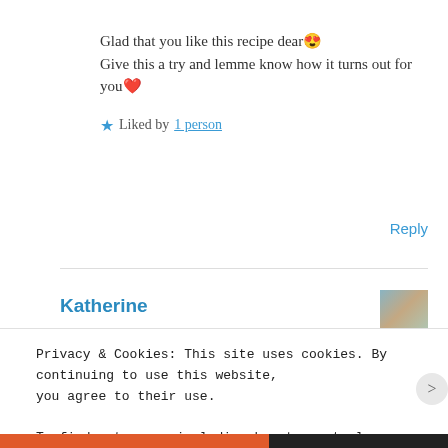Glad that you like this recipe dear 😍
Give this a try and lemme know how it turns out for you ❤️
★ Liked by 1 person
Reply
Katherine
Privacy & Cookies: This site uses cookies. By continuing to use this website, you agree to their use.
To find out more, including how to control cookies, see here: Cookie Policy
Close and accept